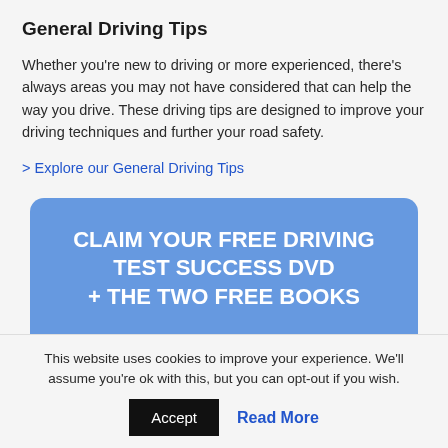General Driving Tips
Whether you're new to driving or more experienced, there's always areas you may not have considered that can help the way you drive. These driving tips are designed to improve your driving techniques and further your road safety.
> Explore our General Driving Tips
[Figure (infographic): Blue rounded rectangle promotional banner with text 'CLAIM YOUR FREE DRIVING TEST SUCCESS DVD + THE TWO FREE BOOKS' and a Name input field below]
This website uses cookies to improve your experience. We'll assume you're ok with this, but you can opt-out if you wish.
Accept   Read More